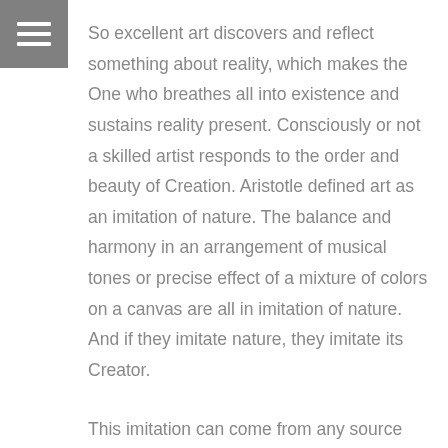[Figure (other): Hamburger menu icon — three white horizontal bars on a grey square background]
So excellent art discovers and reflect something about reality, which makes the One who breathes all into existence and sustains reality present. Consciously or not a skilled artist responds to the order and beauty of Creation. Aristotle defined art as an imitation of nature. The balance and harmony in an arrangement of musical tones or precise effect of a mixture of colors on a canvas are all in imitation of nature. And if they imitate nature, they imitate its Creator.
This imitation can come from any source that does this with integrity. It can come from “secular” sources. But are these sources really secular if, through their beauty, they transcend our human experience and turn us